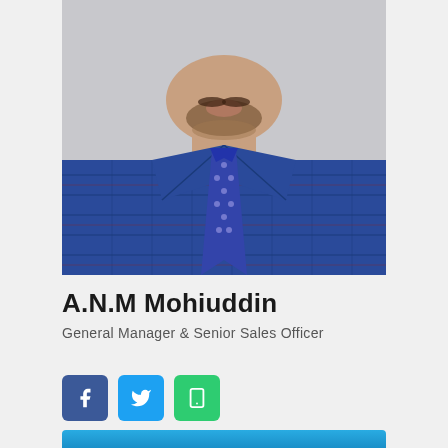[Figure (photo): Professional headshot of A.N.M Mohiuddin wearing a blue plaid shirt and blue polka-dot tie, cropped from chin/neck down, light gray background]
A.N.M Mohiuddin
General Manager & Senior Sales Officer
[Figure (infographic): Three social media / contact icon buttons: Facebook (blue), Twitter (light blue), Phone (green)]
[Figure (photo): Partial bottom portion of a profile card showing a blue banner with a person's image beginning to appear at the bottom edge]